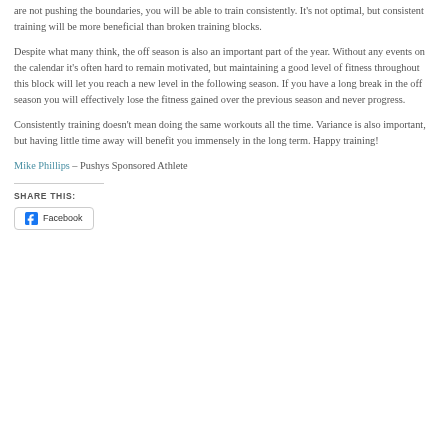are not pushing the boundaries, you will be able to train consistently. It's not optimal, but consistent training will be more beneficial than broken training blocks.
Despite what many think, the off season is also an important part of the year. Without any events on the calendar it's often hard to remain motivated, but maintaining a good level of fitness throughout this block will let you reach a new level in the following season. If you have a long break in the off season you will effectively lose the fitness gained over the previous season and never progress.
Consistently training doesn't mean doing the same workouts all the time. Variance is also important, but having little time away will benefit you immensely in the long term. Happy training!
Mike Phillips – Pushys Sponsored Athlete
SHARE THIS:
Facebook